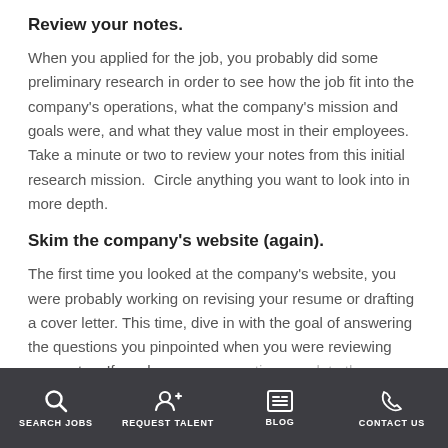Review your notes.
When you applied for the job, you probably did some preliminary research in order to see how the job fit into the company's operations, what the company's mission and goals were, and what they value most in their employees. Take a minute or two to review your notes from this initial research mission.  Circle anything you want to look into in more depth.
Skim the company's website (again).
The first time you looked at the company's website, you were probably working on revising your resume or drafting a cover letter. This time, dive in with the goal of answering the questions you pinpointed when you were reviewing your notes. If you have more questions, update the website with the goal of answering them.
SEARCH JOBS  REQUEST TALENT  BLOG  CONTACT US